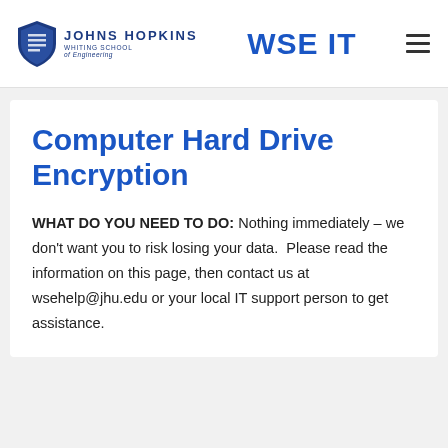Johns Hopkins Whiting School of Engineering — WSE IT
Computer Hard Drive Encryption
WHAT DO YOU NEED TO DO: Nothing immediately – we don't want you to risk losing your data.  Please read the information on this page, then contact us at wsehelp@jhu.edu or your local IT support person to get assistance.